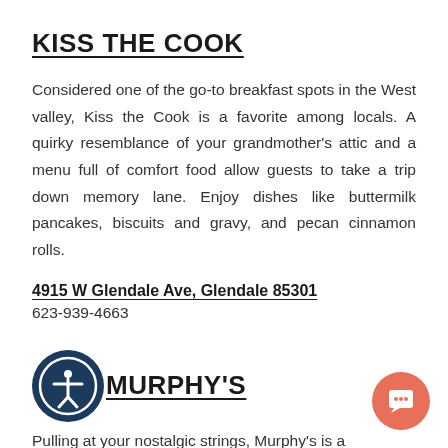KISS THE COOK
Considered one of the go-to breakfast spots in the West valley, Kiss the Cook is a favorite among locals. A quirky resemblance of your grandmother's attic and a menu full of comfort food allow guests to take a trip down memory lane. Enjoy dishes like buttermilk pancakes, biscuits and gravy, and pecan cinnamon rolls.
4915 W Glendale Ave, Glendale 85301
623-939-4663
MURPHY'S
Pulling at your nostalgic strings, Murphy's is a...